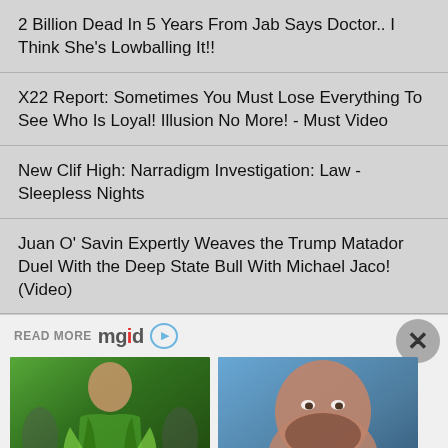2 Billion Dead In 5 Years From Jab Says Doctor.. I Think She's Lowballing It!!
X22 Report: Sometimes You Must Lose Everything To See Who Is Loyal! Illusion No More! - Must Video
New Clif High: Narradigm Investigation: Law - Sleepless Nights
Juan O' Savin Expertly Weaves the Trump Matador Duel With the Deep State Bull With Michael Jaco! (Video)
READ MORE mgid
[Figure (photo): Woman in green dress (Jennifer Lopez)]
This Is How Jennifer Lopez Keeps Her Body In Peak Condition
[Figure (photo): Man with beard (Adam Sandler)]
A Few Years Ago, Sandler's Career Was Falling Apart